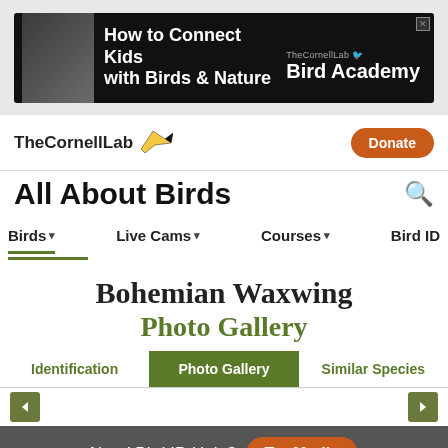[Figure (screenshot): Advertisement banner: How to Connect Kids with Birds & Nature - The Cornell Lab Bird Academy]
TheCornellLab [bird logo] | Donate
All About Birds
Birds ▾   Live Cams ▾   Courses ▾   Bird ID
Bohemian Waxwing
Photo Gallery
Identification   Photo Gallery   Similar Species
Need Bird ID Help?  Try Merlin
Overview   ID info   Life History   Maps   Sounds